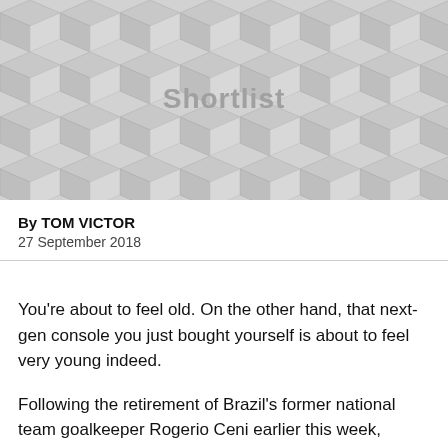[Figure (illustration): Geometric cube/hexagon pattern background in grey tones with the word 'Shortlist' overlaid in bold grey text at center]
By TOM VICTOR
27 September 2018
You’re about to feel old. On the other hand, that next-gen console you just bought yourself is about to feel very young indeed.
Following the retirement of Brazil’s former national team goalkeeper Rogerio Ceni earlier this week, Twitter soon erupted in debate over which current players were still left who also featured on FIFA '96